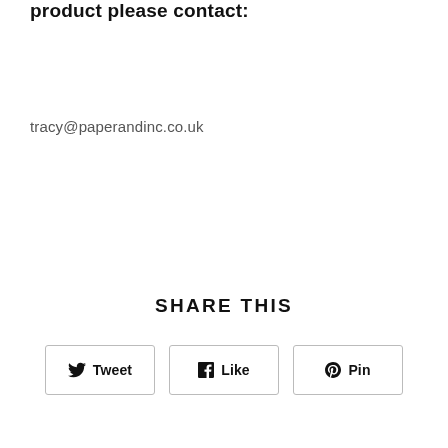product please contact:
tracy@paperandinc.co.uk
SHARE THIS
Tweet  Like  Pin